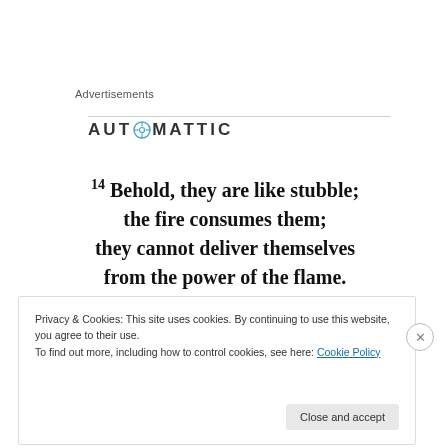Advertisements
[Figure (logo): Automattic logo with compass/target icon replacing the letter O]
14 Behold, they are like stubble; the fire consumes them; they cannot deliver themselves from the power of the flame.
Privacy & Cookies: This site uses cookies. By continuing to use this website, you agree to their use.
To find out more, including how to control cookies, see here: Cookie Policy